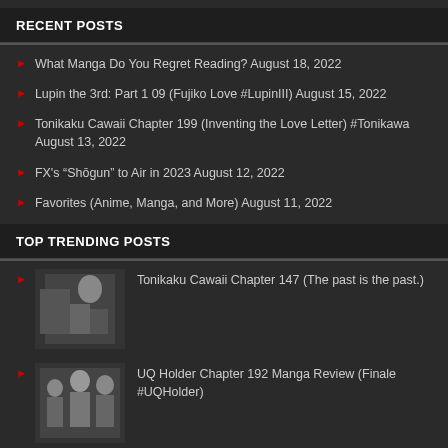RECENT POSTS
What Manga Do You Regret Reading? August 18, 2022
Lupin the 3rd: Part 1 09 (Fujiko Love #LupinIII) August 15, 2022
Tonikaku Cawaii Chapter 199 (Inventing the Love Letter) #Tonikawa August 13, 2022
FX's “Shōgun” to Air in 2023 August 12, 2022
Favorites (Anime, Manga, and More) August 11, 2022
TOP TRENDING POSTS
Tonikaku Cawaii Chapter 147 (The past is the past.)
UQ Holder Chapter 192 Manga Review (Finale #UQHolder)